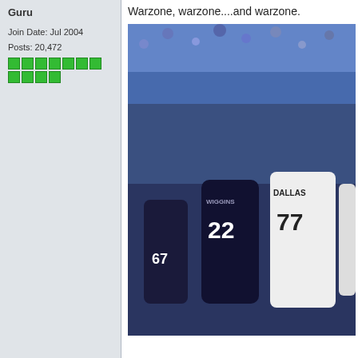Guru
Join Date: Jul 2004
Posts: 20,472
Warzone, warzone....and warzone.
[Figure (photo): Basketball game photo showing Dallas Mavericks player #77 and Minnesota Timberwolves player #22 Wiggins on court with crowd in background]
05-24-2022, 11:30 AM
Jud Frei
Member
Join Date: May 2022
Location: Sweden
Posts: 1
Finally finished Greedfall... God that ga
Hopping into World of Warcraft now! Fo
Last edited by Jud Frei; 06-22-2022 at 08:44 A
06-27-2022, 10:31 AM